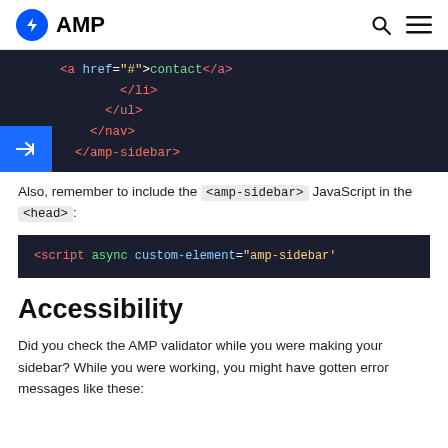AMP
[Figure (screenshot): Dark code editor screenshot showing HTML closing tags: </li>, </ul>, </nav>, </amp-sidebar> with syntax highlighting]
Also, remember to include the <amp-sidebar> JavaScript in the <head>:
[Figure (screenshot): Dark code editor screenshot showing: <script async custom-element="amp-sidebar']
Accessibility
Did you check the AMP validator while you were making your sidebar? While you were working, you might have gotten error messages like these: